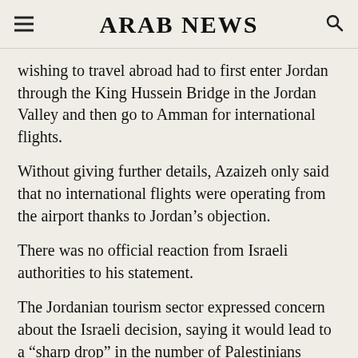ARAB NEWS
wishing to travel abroad had to first enter Jordan through the King Hussein Bridge in the Jordan Valley and then go to Amman for international flights.
Without giving further details, Azaizeh only said that no international flights were operating from the airport thanks to Jordan’s objection.
There was no official reaction from Israeli authorities to his statement.
The Jordanian tourism sector expressed concern about the Israeli decision, saying it would lead to a “sharp drop” in the number of Palestinians